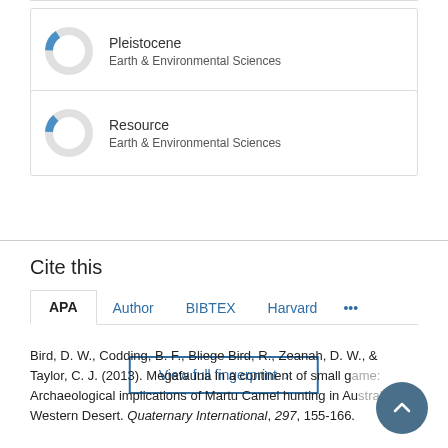[Figure (donut-chart): Donut chart for Pleistocene keyword showing partial fill (~15%) in blue]
[Figure (donut-chart): Donut chart for Resource keyword showing partial fill (~15%) in blue]
View full fingerprint ›
Cite this
APA  Author  BIBTEX  Harvard  ...
Bird, D. W., Codding, B. F., Bliege Bird, R., Zeanah, D. W., & Taylor, C. J. (2013). Megafauna in a continent of small game: Archaeological implications of Martu Camel hunting in Australia's Western Desert. Quaternary International, 297, 155-166.